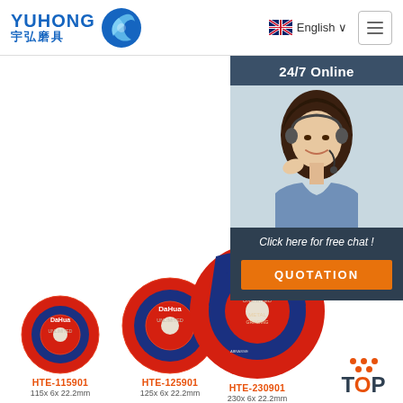[Figure (logo): YUHONG 宇弘磨具 logo with blue wave/disc icon]
English ∨
[Figure (screenshot): Website page showing DaHua brand abrasive cutting discs in three sizes (HTE-115901, HTE-125901, HTE-230901) with a 24/7 online chat widget featuring a customer service agent photo]
24/7 Online
Click here for free chat !
QUOTATION
HTE-115901
115x 6x 22.2mm
HTE-125901
125x 6x 22.2mm
HTE-230901
230x 6x 22.2mm
TOP